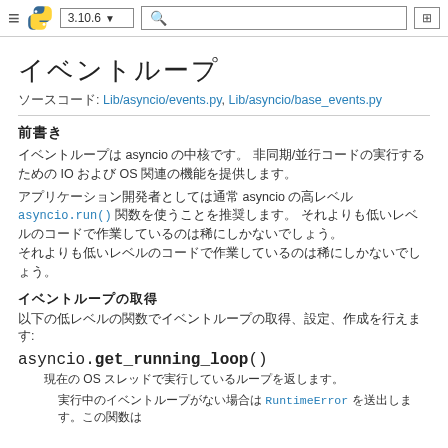≡ [Python logo] 3.10.6 ▾ [search] [icon]
イベントループ
ソースコード: Lib/asyncio/events.py, Lib/asyncio/base_events.py
前書き
イベントループは asyncio の中核です。 非同期/並行コードの実行するための IO および OS 関連の機能を提供します。
アプリケーション開発者としては通常 asyncio の高レベル asyncio.run() 関数を使うことを推奨します。 それよりも低いレベルのコードで作業しているのは稀にしかないでしょう。
イベントループの取得
以下の低レベルの関数でイベントループの取得、設定、作成を行えます:
asyncio.get_running_loop()
    現在の OS スレッドで実行しているループを返します。

        実行中のイベントループがない場合は RuntimeError を送出します。この関数は